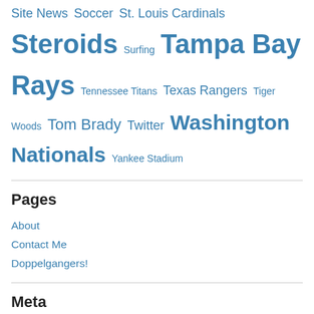Site News Soccer St. Louis Cardinals Steroids Surfing Tampa Bay Rays Tennessee Titans Texas Rangers Tiger Woods Tom Brady Twitter Washington Nationals Yankee Stadium
Pages
About
Contact Me
Doppelgangers!
Meta
Register
Log in
Entries feed
Comments feed
WordPress.com